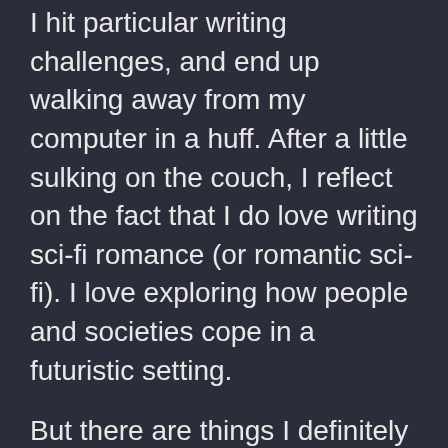I hit particular writing challenges, and end up walking away from my computer in a huff. After a little sulking on the couch, I reflect on the fact that I do love writing sci-fi romance (or romantic sci-fi). I love exploring how people and societies cope in a futuristic setting.
But there are things I definitely find difficult. I consider myself at between the "advanced beginner" and "competent" skill level when it comes to writing, with these three major bugbears that frustrate the hell out of me:
Economies and power